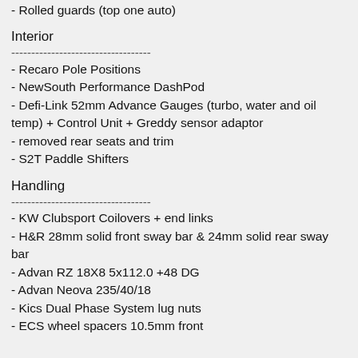- Rolled guards (top one auto)
Interior
-----------------------------------
- Recaro Pole Positions
- NewSouth Performance DashPod
- Defi-Link 52mm Advance Gauges (turbo, water and oil temp) + Control Unit + Greddy sensor adaptor
- removed rear seats and trim
- S2T Paddle Shifters
Handling
-----------------------------------
- KW Clubsport Coilovers + end links
- H&R 28mm solid front sway bar & 24mm solid rear sway bar
- Advan RZ 18X8 5x112.0 +48 DG
- Advan Neova 235/40/18
- Kics Dual Phase System lug nuts
- ECS wheel spacers 10.5mm front